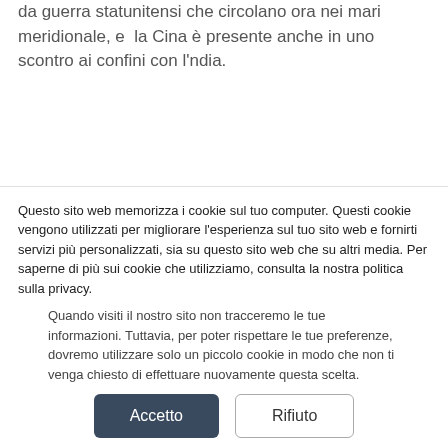da guerra statunitensi che circolano ora nei mari meridionale, e la Cina è presente anche in uno scontro ai confini con l'ndia.
Tre soldati indiani sono stati uccisi in uno scontro violento al confine cinese, ha detto martedì l'esercito indiano, dopo settimane di crescenti tensioni e lo spiegamento di migliaia di truppe extra
Questo sito web memorizza i cookie sul tuo computer. Questi cookie vengono utilizzati per migliorare l'esperienza sul tuo sito web e fornirti servizi più personalizzati, sia su questo sito web che su altri media. Per saperne di più sui cookie che utilizziamo, consulta la nostra politica sulla privacy.
Quando visiti il nostro sito non tracceremo le tue informazioni. Tuttavia, per poter rispettare le tue preferenze, dovremo utilizzare solo un piccolo cookie in modo che non ti venga chiesto di effettuare nuovamente questa scelta.
Accetto
Rifiuto